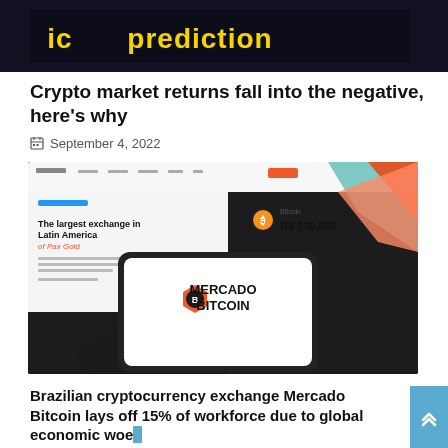[Figure (photo): Dark background image with yellow text showing 'prediction']
Crypto market returns fall into the negative, here's why
September 4, 2022
[Figure (photo): Mercado Bitcoin cryptocurrency exchange website screenshot shown on a phone screen held in a dark room. The website shows 'The largest exchange in Latin America of Pax Gold' and a Bitcoin price of R$ 239,599. The phone displays the Mercado Bitcoin logo (orange hexagon with B and text MERCADO BITCOIN).]
Brazilian cryptocurrency exchange Mercado Bitcoin lays off 15% of workforce due to global economic woes